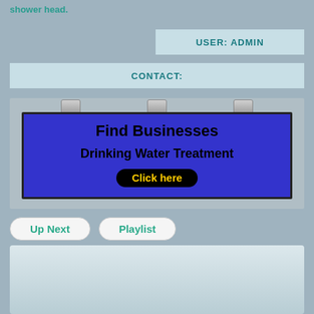shower head.
USER: ADMIN
CONTACT:
[Figure (illustration): A billboard advertisement with blue background showing 'Find Businesses Drinking Water Treatment' with a 'Click here' button in yellow text on black rounded rectangle, mounted with three clips at top.]
Up Next
Playlist